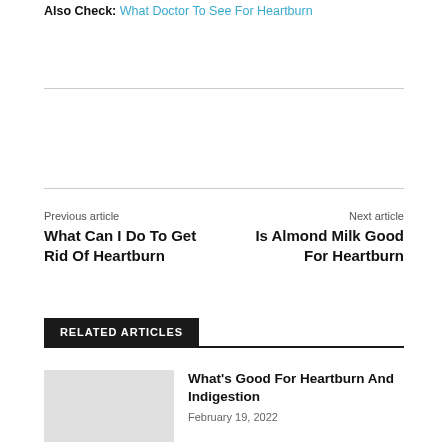Also Check: What Doctor To See For Heartburn
Previous article
What Can I Do To Get Rid Of Heartburn
Next article
Is Almond Milk Good For Heartburn
RELATED ARTICLES
What's Good For Heartburn And Indigestion
February 19, 2022